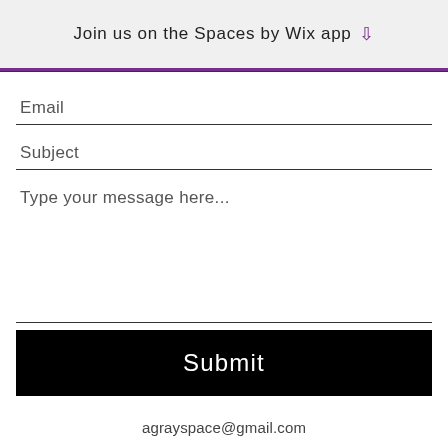Join us on the Spaces by Wix app
Email
Subject
Type your message here...
Submit
agrayspace@gmail.com